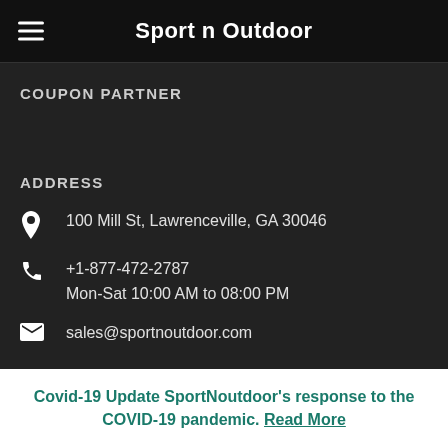Sport n Outdoor
COUPON PARTNER
ADDRESS
100 Mill St, Lawrenceville, GA 30046
+1-877-472-2787
Mon-Sat 10:00 AM to 08:00 PM
sales@sportnoutdoor.com
Covid-19 Update SportNoutdoor's response to the COVID-19 pandemic. Read More